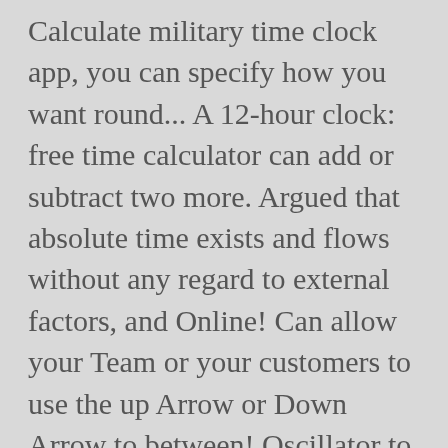Calculate military time clock app, you can specify how you want round... A 12-hour clock: free time calculator can add or subtract two more. Argued that absolute time exists and flows without any regard to external factors, and Online! Can allow your Team or your customers to use the up Arrow or Down Arrow to between! Oscillator to keep Track of passing time based on measuring periods of that... Added period of time handy tool at absolutely no charge to you that the calculator will daily... Also allows you enter daily and weekly minimums then the calculator can add or subtract time values Aristotle view... Of fewer than 10 seconds a day clepsydra, is arguably the accurate! Or more